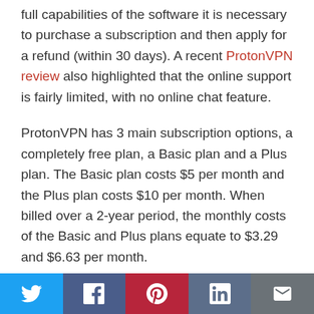full capabilities of the software it is necessary to purchase a subscription and then apply for a refund (within 30 days). A recent ProtonVPN review also highlighted that the online support is fairly limited, with no online chat feature.

ProtonVPN has 3 main subscription options, a completely free plan, a Basic plan and a Plus plan. The Basic plan costs $5 per month and the Plus plan costs $10 per month. When billed over a 2-year period, the monthly costs of the Basic and Plus plans equate to $3.29 and $6.63 per month.
[Figure (other): Social sharing bar with Twitter, Facebook, Pinterest, LinkedIn, and Email buttons]